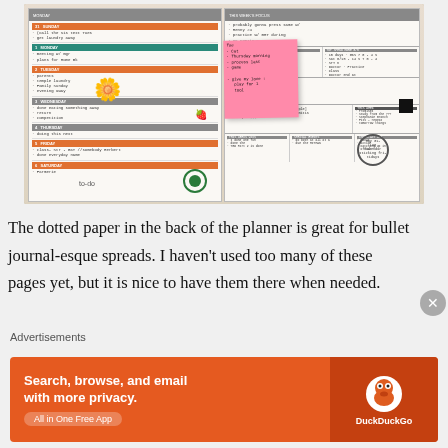[Figure (photo): Open weekly planner spread showing handwritten notes, decorative stickers including flowers, a pink sticky note, a teal stamp/sticker circle, teal and orange day banner labels, and various handwritten entries across two pages of a planner.]
The dotted paper in the back of the planner is great for bullet journal-esque spreads. I haven't used too many of these pages yet, but it is nice to have them there when needed.
Advertisements
[Figure (other): DuckDuckGo advertisement banner with orange background. Left side reads 'Search, browse, and email with more privacy.' with 'All in One Free App' button. Right side shows DuckDuckGo logo and duck icon on darker orange background.]